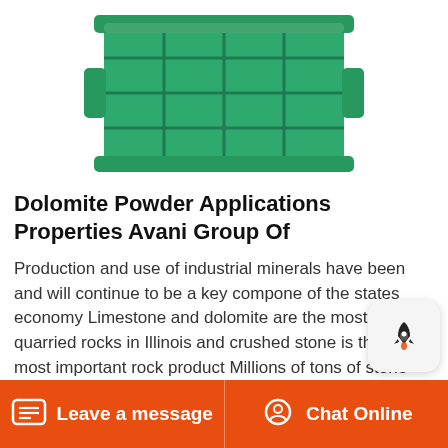[Figure (photo): Green plastic dolomite powder storage crate/tray with grid pattern, viewed from above at slight angle, on white background]
Dolomite Powder Applications Properties Avani Group Of
Production and use of industrial minerals have been and will continue to be a key component of the states economy Limestone and dolomite are the most widely quarried rocks in Illinois and crushed stone is the states most important rock product Millions of tons of stone are crushed annually for use as construction aggregates road surfacing Jun 28 2017 Dolomite is an anhydrous carbonate
[Figure (illustration): Rocket/chat widget icon — small popup widget with rocket icon on light gray rounded rectangle background]
Leave a message   Chat Online